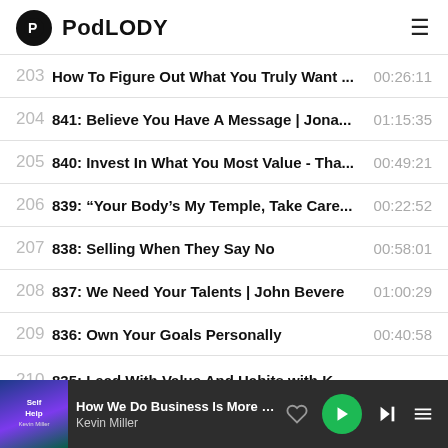PodLODY
203  How To Figure Out What You Truly Want ...  00:26:11
204  841: Believe You Have A Message | Jona...  01:15:35
205  840: Invest In What You Most Value - Tha...  00:49:21
206  839: "Your Body's My Temple, Take Care...  00:22:52
207  838: Selling When They Say No  00:58:01
208  837: We Need Your Talents | John Bevere  01:00:29
209  836: Own Your Goals Personally  00:40:58
210  835: Lead With Value And Habits with K...
How We Do Business Is More Impor... | Kevin Miller